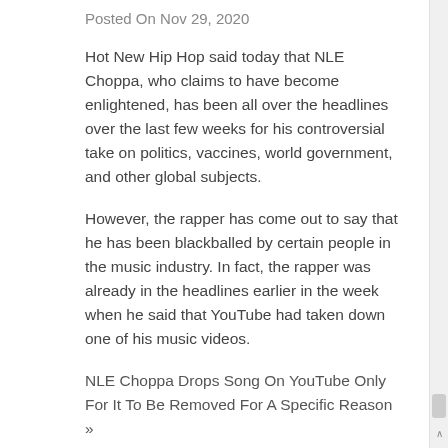Posted On Nov 29, 2020
Hot New Hip Hop said today that NLE Choppa, who claims to have become enlightened, has been all over the headlines over the last few weeks for his controversial take on politics, vaccines, world government, and other global subjects.
However, the rapper has come out to say that he has been blackballed by certain people in the music industry. In fact, the rapper was already in the headlines earlier in the week when he said that YouTube had taken down one of his music videos.
NLE Choppa Drops Song On YouTube Only For It To Be Removed For A Specific Reason »
Those who are familiar with YouTube's terms and conditions know they have a strict policy against those who have spoken about the coronavirus, especially those who say the virus isn't real, or who express other supposed